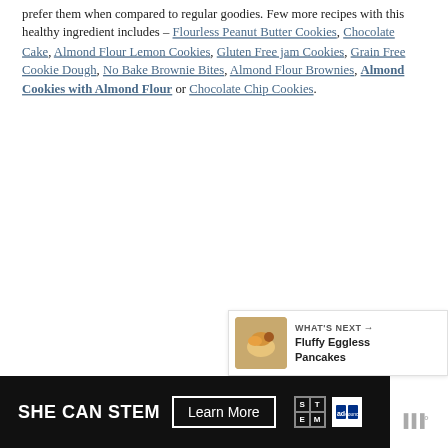prefer them when compared to regular goodies. Few more recipes with this healthy ingredient includes – Flourless Peanut Butter Cookies, Chocolate Cake, Almond Flour Lemon Cookies, Gluten Free jam Cookies, Grain Free Cookie Dough, No Bake Brownie Bites, Almond Flour Brownies, Almond Cookies with Almond Flour or Chocolate Chip Cookies.
[Figure (other): Heart/like button (teal circle with heart icon) and share button, with count of 1]
[Figure (other): What's Next panel showing a food image thumbnail and text 'Fluffy Eggless Pancakes']
[Figure (other): Advertisement banner: SHE CAN STEM with Learn More button, STEM grid icon, Ad Council logo]